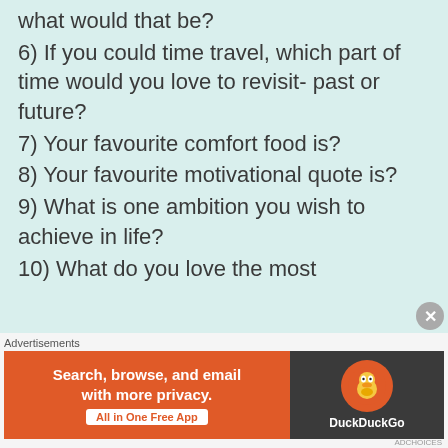what would that be?
6) If you could time travel, which part of time would you love to revisit- past or future?
7) Your favourite comfort food is?
8) Your favourite motivational quote is?
9) What is one ambition you wish to achieve in life?
10) What do you love the most
Advertisements
[Figure (screenshot): DuckDuckGo advertisement banner: orange left side with text 'Search, browse, and email with more privacy. All in One Free App', dark right side with DuckDuckGo duck logo and brand name.]